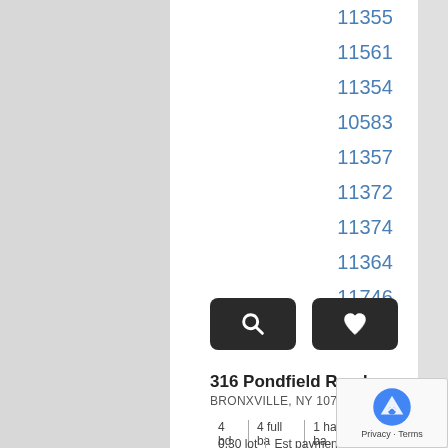11355
11561
11354
10583
11357
11372
11374
11364
11746
[Figure (screenshot): Two dark rounded rectangle buttons: a magnifying glass icon button and a heart/favorite icon button]
316 Pondfield Road   $2,295,000
BRONXVILLE, NY 10708
4 bd | 4 full ba | 1 half ba | 3,455 sqft |
0.30 lot | Est payment $12320.06/mo